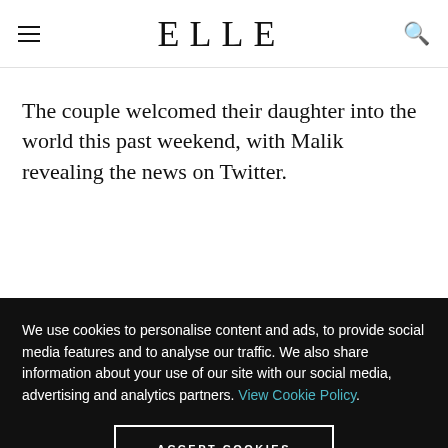ELLE
The couple welcomed their daughter into the world this past weekend, with Malik revealing the news on Twitter.
We use cookies to personalise content and ads, to provide social media features and to analyse our traffic. We also share information about your use of our site with our social media, advertising and analytics partners. View Cookie Policy.
ACCEPT COOKIES